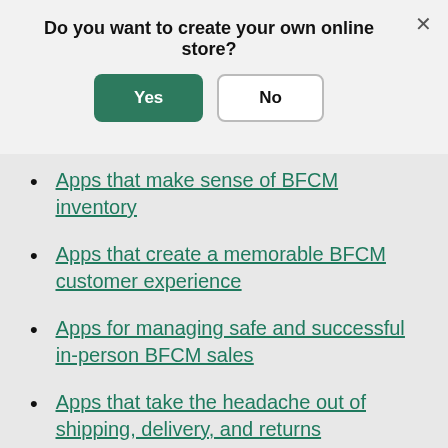Do you want to create your own online store?
Apps that make sense of BFCM inventory
Apps that create a memorable BFCM customer experience
Apps for managing safe and successful in-person BFCM sales
Apps that take the headache out of shipping, delivery, and returns